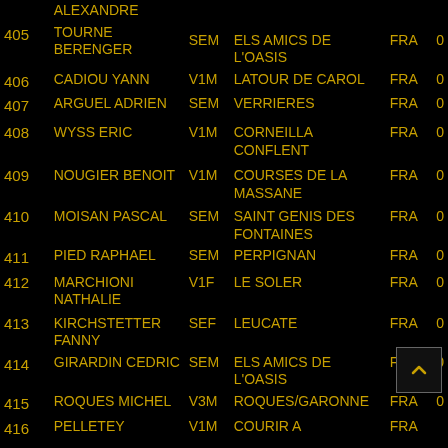| # | Name | Cat | Club | Country |  |
| --- | --- | --- | --- | --- | --- |
|  | ALEXANDRE |  |  |  |  |
| 405 | TOURNE BERENGER | SEM | ELS AMICS DE L'OASIS | FRA | 0 |
| 406 | CADIOU YANN | V1M | LATOUR DE CAROL | FRA | 0 |
| 407 | ARGUEL ADRIEN | SEM | VERRIERES | FRA | 0 |
| 408 | WYSS ERIC | V1M | CORNEILLA CONFLENT | FRA | 0 |
| 409 | NOUGIER BENOIT | V1M | COURSES DE LA MASSANE | FRA | 0 |
| 410 | MOISAN PASCAL | SEM | SAINT GENIS DES FONTAINES | FRA | 0 |
| 411 | PIED RAPHAEL | SEM | PERPIGNAN | FRA | 0 |
| 412 | MARCHIONI NATHALIE | V1F | LE SOLER | FRA | 0 |
| 413 | KIRCHSTETTER FANNY | SEF | LEUCATE | FRA | 0 |
| 414 | GIRARDIN CEDRIC | SEM | ELS AMICS DE L'OASIS | FRA | 0 |
| 415 | ROQUES MICHEL | V3M | ROQUES/GARONNE | FRA | 0 |
| 416 | PELLETEY | V1M | COURIR A | FRA |  |